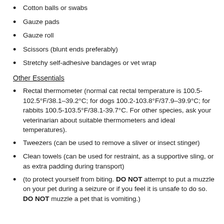Cotton balls or swabs
Gauze pads
Gauze roll
Scissors (blunt ends preferably)
Stretchy self-adhesive bandages or vet wrap
Other Essentials
Rectal thermometer (normal cat rectal temperature is 100.5-102.5°F/38.1–39.2°C; for dogs 100.2-103.8°F/37.9–39.9°C; for rabbits 100.5-103.5°F/38.1-39.7°C. For other species, ask your veterinarian about suitable thermometers and ideal temperatures).
Tweezers (can be used to remove a sliver or insect stinger)
Clean towels (can be used for restraint, as a supportive sling, or as extra padding during transport)
(to protect yourself from biting. DO NOT attempt to put a muzzle on your pet during a seizure or if you feel it is unsafe to do so. DO NOT muzzle a pet that is vomiting.)